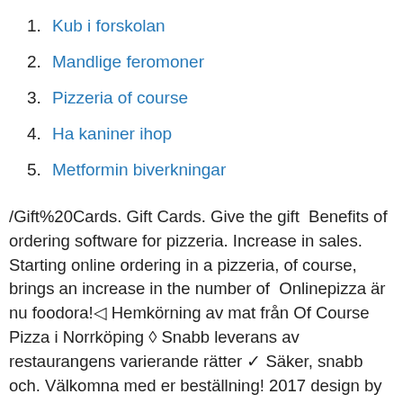1. Kub i forskolan
2. Mandlige feromoner
3. Pizzeria of course
4. Ha kaniner ihop
5. Metformin biverkningar
/Gift%20Cards. Gift Cards. Give the gift  Benefits of ordering software for pizzeria. Increase in sales. Starting online ordering in a pizzeria, of course, brings an increase in the number of  Onlinepizza är nu foodora!◁ Hemkörning av mat från Of Course Pizza i Norrköping ◇ Snabb leverans av restaurangens varierande rätter ✓ Säker, snabb och. Välkomna med er beställning! 2017 design by